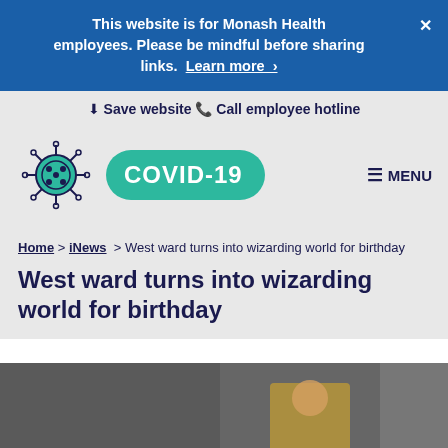This website is for Monash Health employees. Please be mindful before sharing links. Learn more ›
⬇ Save website   📞 Call employee hotline
[Figure (logo): COVID-19 logo with green pill badge and teal coronavirus icon on grey background, with MENU button on right]
Home > iNews > West ward turns into wizarding world for birthday
West ward turns into wizarding world for birthday
[Figure (photo): Photo of a hospital ward decorated for a birthday party with a person in a yellow shirt visible]